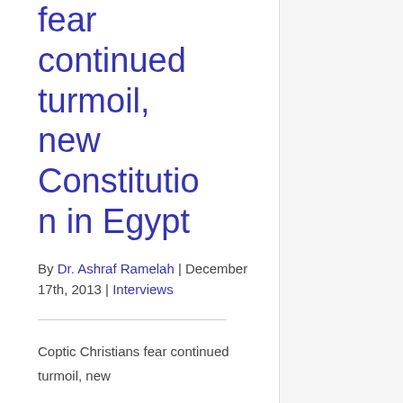fear continued turmoil, new Constitution in Egypt
By Dr. Ashraf Ramelah | December 17th, 2013 | Interviews
Coptic Christians fear continued turmoil, new